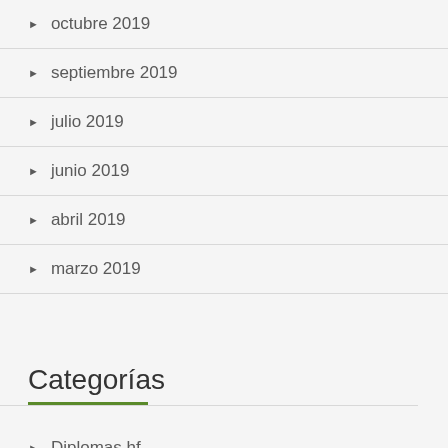octubre 2019
septiembre 2019
julio 2019
junio 2019
abril 2019
marzo 2019
Categorías
Diplomas hf
Diplomas Mf